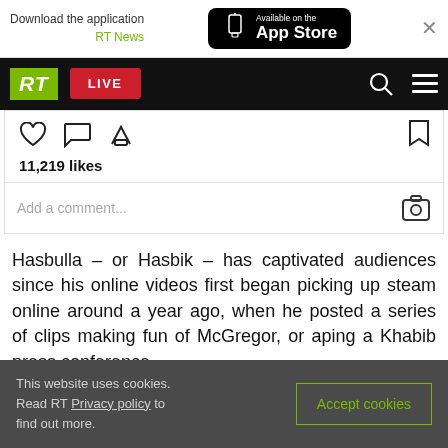Download the application RT News | Available on the App Store
[Figure (screenshot): RT News navigation bar with green RT logo, red LIVE button, search and menu icons]
11,219 likes
Add a comment...
Hasbulla – or Hasbik – has captivated audiences since his online videos first began picking up steam online around a year ago, when he posted a series of clips making fun of McGregor, or aping a Khabib press conference.
This website uses cookies. Read RT Privacy policy to find out more.